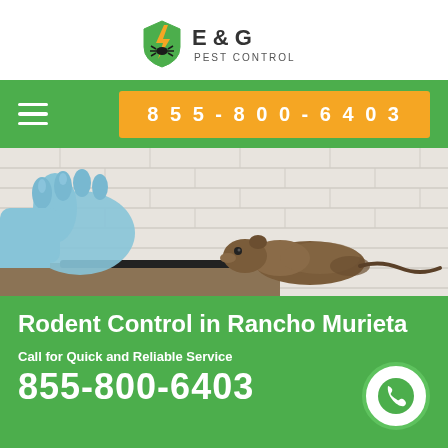[Figure (logo): E & G Pest Control logo with shield and lightning bolt icon]
≡  855-800-6403
[Figure (photo): Gloved hand placing a rodent trap near a brown rat by a white brick wall]
Rodent Control in Rancho Murieta
Call for Quick and Reliable Service
855-800-6403